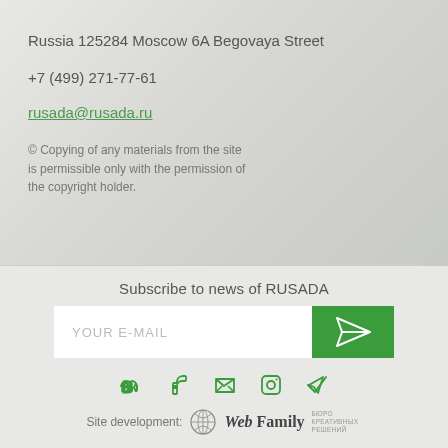Russia 125284 Moscow 6A Begovaya Street
+7 (499) 271-77-61
rusada@rusada.ru
© Copying of any materials from the site is permissible only with the permission of the copyright holder.
Subscribe to news of RUSADA
YOUR E-MAIL
Site development: Web Family